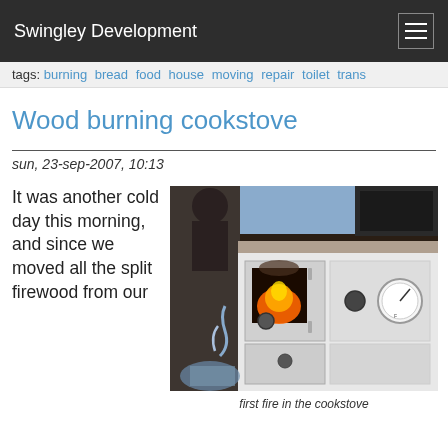Swingley Development
tags: burning bread food house moving repair toilet trans
Wood burning cookstove
sun, 23-sep-2007, 10:13
It was another cold day this morning, and since we moved all the split firewood from our
[Figure (photo): Close-up photograph of a white wood burning cookstove with an open firebox door showing flames inside, a round temperature gauge on the right side, and a lower ash drawer. The stove is in a kitchen setting.]
first fire in the cookstove